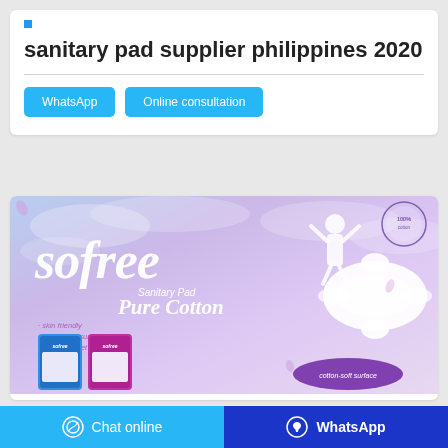sanitary pad supplier philippines 2020
[Figure (illustration): Sofree Sanitary Pad Pure Cotton advertisement banner showing the Sofree brand logo in large italic white text, a woman jumping in white dress, a sanitary pad product, two product packages, bullet points listing skin-friendly, cotton-soft surface, soft top sheet, breathable features, and a cotton-soft surface oval label.]
Chat online | WhatsApp